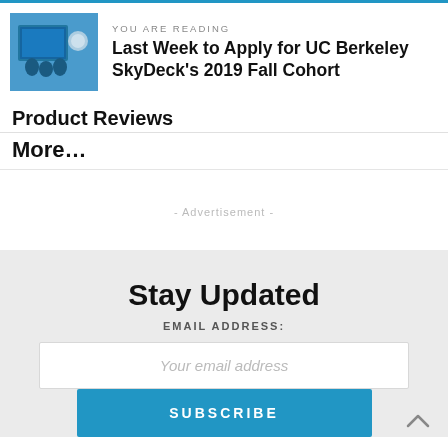YOU ARE READING
Last Week to Apply for UC Berkeley SkyDeck's 2019 Fall Cohort
Product Reviews
More…
- Advertisement -
Stay Updated
EMAIL ADDRESS:
Your email address
SUBSCRIBE